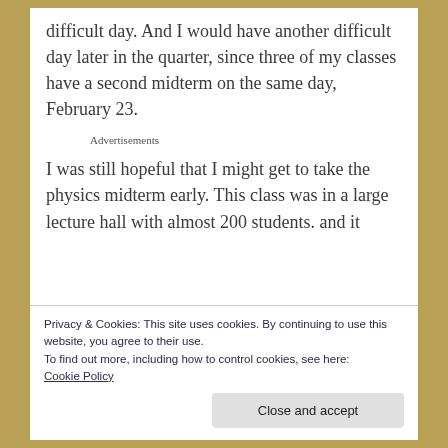difficult day. And I would have another difficult day later in the quarter, since three of my classes have a second midterm on the same day, February 23.
Advertisements
I was still hopeful that I might get to take the physics midterm early. This class was in a large lecture hall with almost 200 students. and it
Privacy & Cookies: This site uses cookies. By continuing to use this website, you agree to their use.
To find out more, including how to control cookies, see here: Cookie Policy
Close and accept